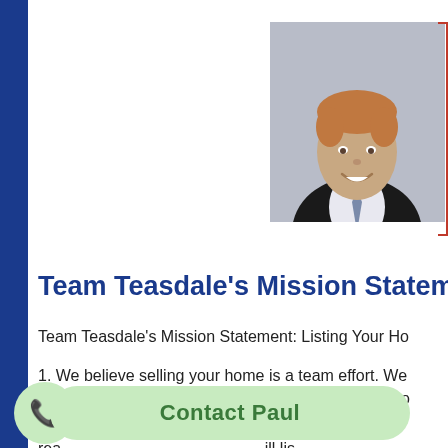[Figure (photo): Portrait photo of a smiling man with short blonde/reddish hair wearing a dark suit and striped tie, on a gray background]
Team Teasdale's Mission Statement
Team Teasdale's Mission Statement: Listing Your Ho
1. We believe selling your home is a team effort. We helping you get the price and terms you desire on yo
2. Team Teasdale Realty is a team of licensed Utah rea ill lis
3. W or an minutes. Try us! You can always reach us and we ar